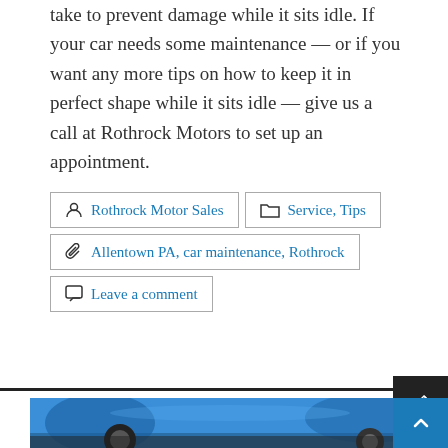take to prevent damage while it sits idle. If your car needs some maintenance — or if you want any more tips on how to keep it in perfect shape while it sits idle — give us a call at Rothrock Motors to set up an appointment.
Rothrock Motor Sales
Service, Tips
Allentown PA, car maintenance, Rothrock
Leave a comment
[Figure (photo): Close-up photo of the underside/front bumper of a blue car with tires and wheel visible, person's hand visible at bottom]